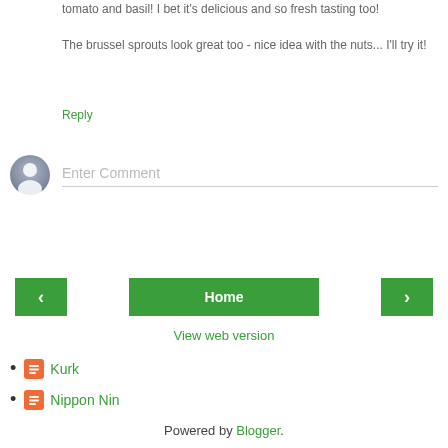tomato and basil! I bet it's delicious and so fresh tasting too!

The brussel sprouts look great too - nice idea with the nuts... I'll try it!
Reply
[Figure (other): Comment input area with avatar and 'Enter Comment' placeholder text field]
[Figure (other): Navigation bar with left arrow button, Home button, and right arrow button in green]
View web version
Kurk
Nippon Nin
Powered by Blogger.